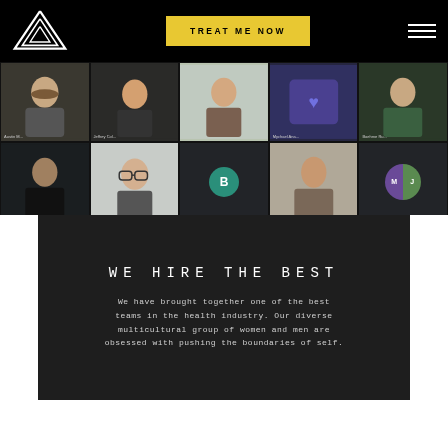[Figure (screenshot): Website header with triangle logo on left, yellow 'TREAT ME NOW' button in center, and hamburger menu icon on right, on black background]
[Figure (screenshot): Video conference grid showing 10 participants in two rows: top row has 5 people visible (men in various settings), bottom row has a man with glasses, a teal avatar circle with 'B', a woman, and a blue/green split MJ avatar]
WE HIRE THE BEST
We have brought together one of the best teams in the health industry. Our diverse multicultural group of women and men are obsessed with pushing the boundaries of self.